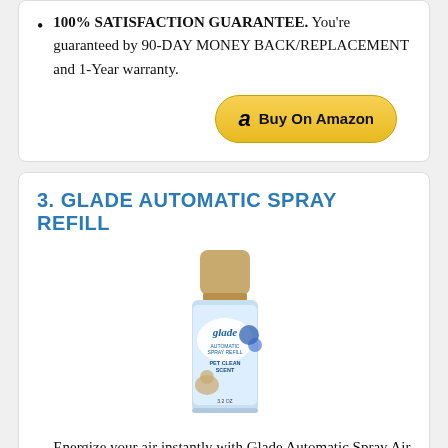100% SATISFACTION GUARANTEE. You're guaranteed by 90-DAY MONEY BACK/REPLACEMENT and 1-Year warranty.
[Figure (other): Buy On Amazon button with Amazon logo]
3. GLADE AUTOMATIC SPRAY REFILL
[Figure (photo): Glade Automatic Spray Refill product bottle with gold cap and blue label showing Pet Clean Scent]
Energize your air instantly with Glade Automatic Spray Air Freshener